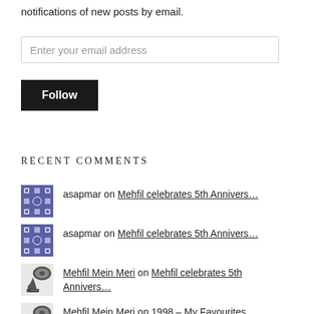notifications of new posts by email.
Enter your email address
Follow
RECENT COMMENTS
asapmar on Mehfil celebrates 5th Annivers...
asapmar on Mehfil celebrates 5th Annivers...
Mehfil Mein Meri on Mehfil celebrates 5th Annivers...
Mehfil Mein Meri on 1998 – My Favourites
asapmar on Mehfil celebrates 5th Annivers...